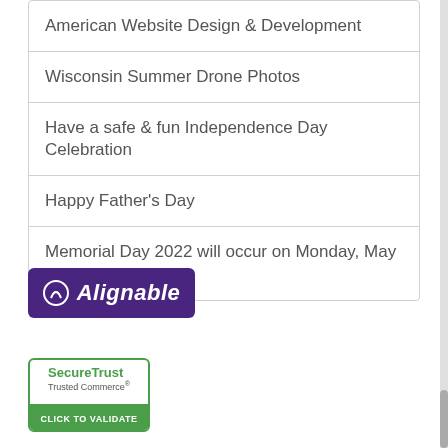American Website Design & Development
Wisconsin Summer Drone Photos
Have a safe & fun Independence Day Celebration
Happy Father's Day
Memorial Day 2022 will occur on Monday, May 30
[Figure (logo): Alignable logo — purple rounded rectangle with white script text and icon]
[Figure (logo): SecureTrust Trusted Commerce CLICK TO VALIDATE badge with green border]